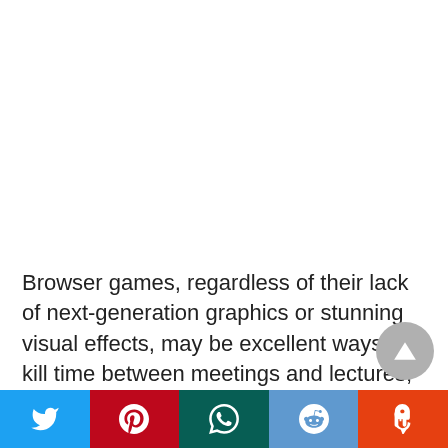Browser games, regardless of their lack of next-generation graphics or stunning visual effects, may be excellent ways to kill time between meetings and lectures, as a diversion during lockdowns and social distancing, or even to procrastinate a little.
[Figure (other): Social media share bar with Twitter, Pinterest, WhatsApp, Reddit, and StumbleUpon buttons]